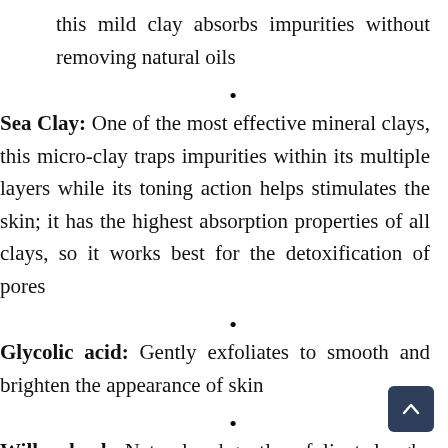this mild clay absorbs impurities without removing natural oils
Sea Clay: One of the most effective mineral clays, this micro-clay traps impurities within its multiple layers while its toning action helps stimulates the skin; it has the highest absorption properties of all clays, so it works best for the detoxification of pores
Glycolic acid: Gently exfoliates to smooth and brighten the appearance of skin
Willow bark: Natural and gentle exfoliant sloughs off dead skin cells, making way for fresh, bright and radiant